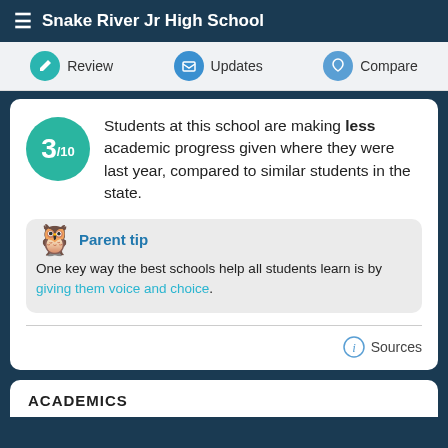Snake River Jr High School
Review   Updates   Compare
3/10 Students at this school are making less academic progress given where they were last year, compared to similar students in the state.
Parent tip
One key way the best schools help all students learn is by giving them voice and choice.
Sources
ACADEMICS